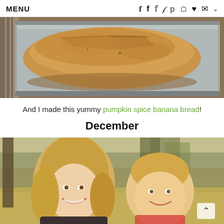MENU  f  t  p  o  ♥  ✉  ˅
[Figure (photo): Close-up photo of a freshly baked pumpkin spice banana bread loaf in a metal baking pan, golden-brown top with a crack down the center]
And I made this yummy pumpkin spice banana bread!
December
[Figure (photo): Photo of a smiling blonde woman holding a young toddler with light brown hair, outdoor setting with trees in background]